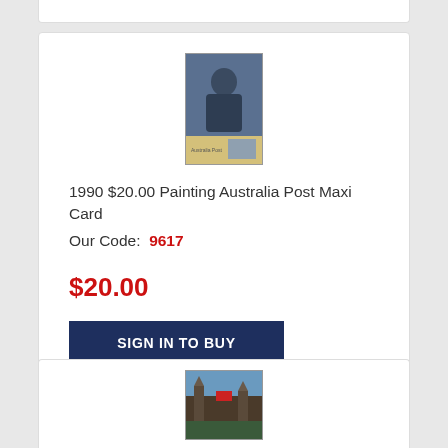[Figure (photo): Product image of 1990 $20.00 Painting Australia Post Maxi Card showing a portrait painting and stamp]
1990 $20.00 Painting Australia Post Maxi Card
Our Code:  9617
$20.00
SIGN IN TO BUY
Login or register to add to cart.
[Figure (photo): Product image of another Australia Post item showing a landscape with mountains/buildings]